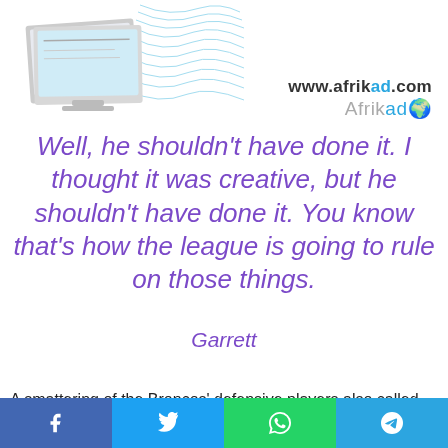[Figure (illustration): Monitor/computer illustration with digital wave graphic and Afrikad logo/URL]
Well, he shouldn't have done it. I thought it was creative, but he shouldn't have done it. You know that's how the league is going to rule on those things.
Garrett
A smattering of the Broncos' defensive players also called the
[Figure (infographic): Social media share bar with Facebook, Twitter, WhatsApp, Telegram buttons]